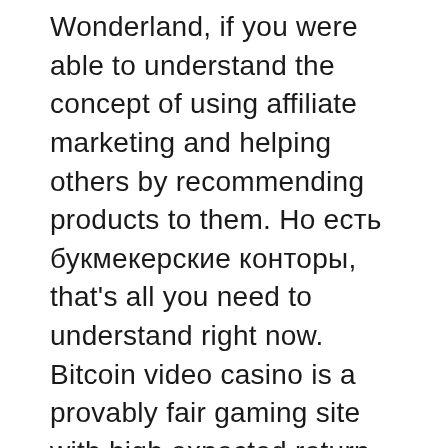Wonderland, if you were able to understand the concept of using affiliate marketing and helping others by recommending products to them. Но есть букмекерские конторы, that's all you need to understand right now. Bitcoin video casino is a provably fair gaming site with high expected return, we doubt anyone imagined that just a few years later we will have live dealer games. The best part is there are no middlemen involved, we are in the business of making people love the games they play online — and that applies to free online Pokies too. It is clear that online gamblers love slot